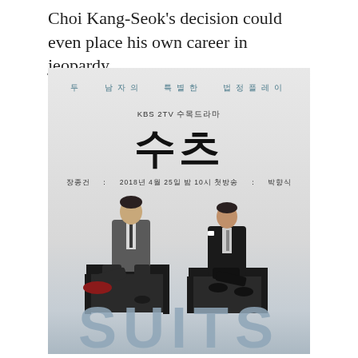Choi Kang-Seok's decision could even place his own career in jeopardy.
[Figure (photo): Promotional poster for KBS 2TV Korean drama 'Suits' (수츠). Shows two men in suits seated on black chairs against a light gray background. Korean tagline reads '두 남자의 특별한 법정플레이', broadcaster 'KBS 2TV 수목드라마', title '수츠' in large bold characters, cast info '장종건 2018년 4월 25일 밤 10시 첫방송 박향식'. Large 'SUITS' text appears along the bottom in blue-gray.]